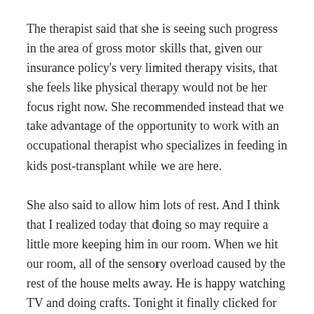The therapist said that she is seeing such progress in the area of gross motor skills that, given our insurance policy's very limited therapy visits, that she feels like physical therapy would not be her focus right now. She recommended instead that we take advantage of the opportunity to work with an occupational therapist who specializes in feeding in kids post-transplant while we are here.
She also said to allow him lots of rest. And I think that I realized today that doing so may require a little more keeping him in our room. When we hit our room, all of the sensory overload caused by the rest of the house melts away. He is happy watching TV and doing crafts. Tonight it finally clicked for him that the tote in